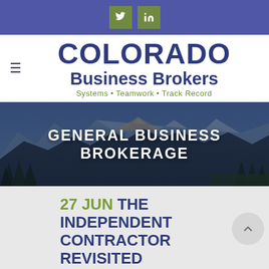Twitter and LinkedIn social icons
COLORADO Business Brokers
Systems • Teamwork • Track Record
[Figure (photo): Mountain landscape panorama with pine trees in foreground and rocky peaks behind, with overlaid text 'GENERAL BUSINESS BROKERAGE']
GENERAL BUSINESS BROKERAGE
27 JUN THE INDEPENDENT CONTRACTOR REVISITED
in General Business Brokerage · Share